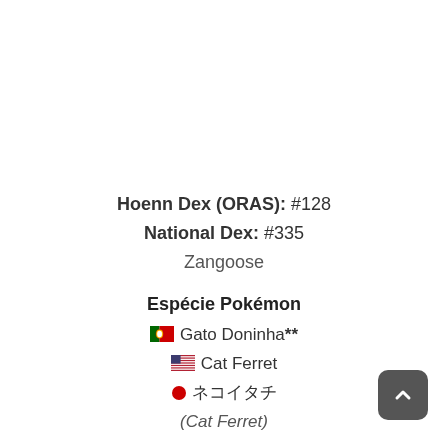Hoenn Dex (ORAS): #128
National Dex: #335
Zangoose
Espécie Pokémon
🇵🇹 Gato Doninha**
🇺🇸 Cat Ferret
● ネコイタチ
(Cat Ferret)